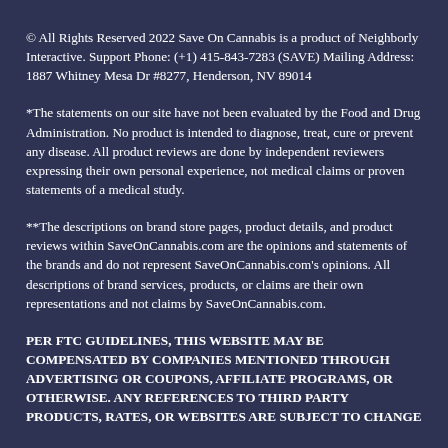© All Rights Reserved 2022 Save On Cannabis is a product of Neighborly Interactive. Support Phone: (+1) 415-843-7283 (SAVE) Mailing Address: 1887 Whitney Mesa Dr #8277, Henderson, NV 89014
*The statements on our site have not been evaluated by the Food and Drug Administration. No product is intended to diagnose, treat, cure or prevent any disease. All product reviews are done by independent reviewers expressing their own personal experience, not medical claims or proven statements of a medical study.
**The descriptions on brand store pages, product details, and product reviews within SaveOnCannabis.com are the opinions and statements of the brands and do not represent SaveOnCannabis.com's opinions. All descriptions of brand services, products, or claims are their own representations and not claims by SaveOnCannabis.com.
PER FTC GUIDELINES, THIS WEBSITE MAY BE COMPENSATED BY COMPANIES MENTIONED THROUGH ADVERTISING OR COUPONS, AFFILIATE PROGRAMS, OR OTHERWISE. ANY REFERENCES TO THIRD PARTY PRODUCTS, RATES, OR WEBSITES ARE SUBJECT TO CHANGE